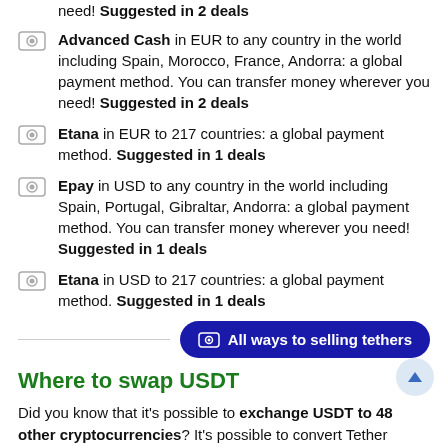need! Suggested in 2 deals
Advanced Cash in EUR to any country in the world including Spain, Morocco, France, Andorra: a global payment method. You can transfer money wherever you need! Suggested in 2 deals
Etana in EUR to 217 countries: a global payment method. Suggested in 1 deals
Epay in USD to any country in the world including Spain, Portugal, Gibraltar, Andorra: a global payment method. You can transfer money wherever you need! Suggested in 1 deals
Etana in USD to 217 countries: a global payment method. Suggested in 1 deals
All ways to selling tethers
Where to swap USDT
Did you know that it's possible to exchange USDT to 48 other cryptocurrencies? It's possible to convert Tether to/from 98% of crypto coins supported @ ExchangeRates.Pro. Some of these are really great ones (we don't list useless coins and tokens at our website), that's why we've prepared a list of exchange opportunities available. There are totally 491 sw possibilities with USDT and other coins and tokens. Coin to coin exchanges are safe, easy and beneficial when you are